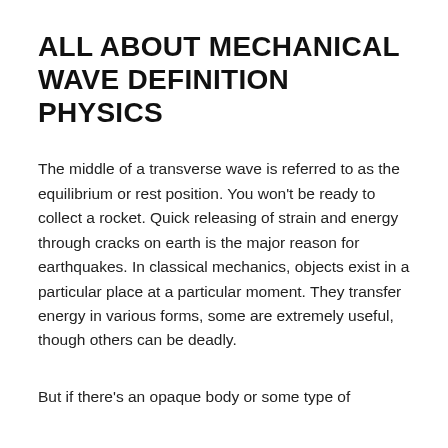ALL ABOUT MECHANICAL WAVE DEFINITION PHYSICS
The middle of a transverse wave is referred to as the equilibrium or rest position. You won't be ready to collect a rocket. Quick releasing of strain and energy through cracks on earth is the major reason for earthquakes. In classical mechanics, objects exist in a particular place at a particular moment. They transfer energy in various forms, some are extremely useful, though others can be deadly.
But if there's an opaque body or some type of